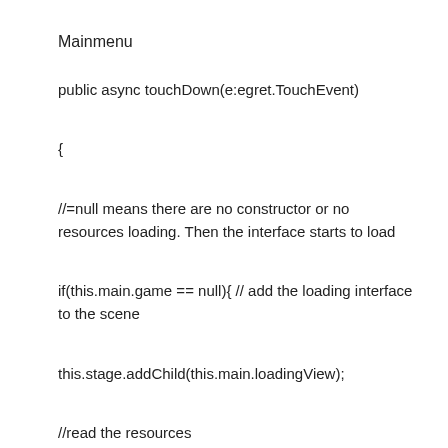Mainmenu
public async touchDown(e:egret.TouchEvent)
{
//=null means there are no constructor or no resources loading. Then the interface starts to load
if(this.main.game == null){ // add the loading interface to the scene
this.stage.addChild(this.main.loadingView);
//read the resources
await RES.loadGroup("game", 0, this.main.loadingView);